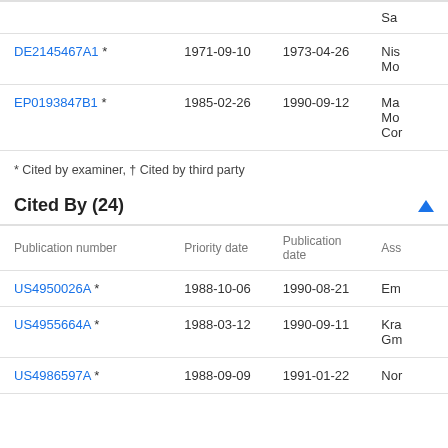| Publication number | Priority date | Publication date | Ass |
| --- | --- | --- | --- |
| DE2145467A1 * | 1971-09-10 | 1973-04-26 | Nis Mo |
| EP0193847B1 * | 1985-02-26 | 1990-09-12 | Ma Mo Cor |
* Cited by examiner, † Cited by third party
Cited By (24)
| Publication number | Priority date | Publication date | Ass |
| --- | --- | --- | --- |
| US4950026A * | 1988-10-06 | 1990-08-21 | Em |
| US4955664A * | 1988-03-12 | 1990-09-11 | Kra Gm |
| US4986597A * | 1988-09-09 | 1991-01-22 | Nor |